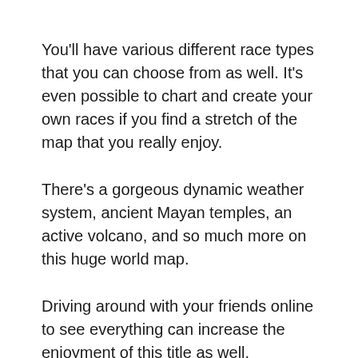You'll have various different race types that you can choose from as well. It's even possible to chart and create your own races if you find a stretch of the map that you really enjoy.
There's a gorgeous dynamic weather system, ancient Mayan temples, an active volcano, and so much more on this huge world map.
Driving around with your friends online to see everything can increase the enjoyment of this title as well.